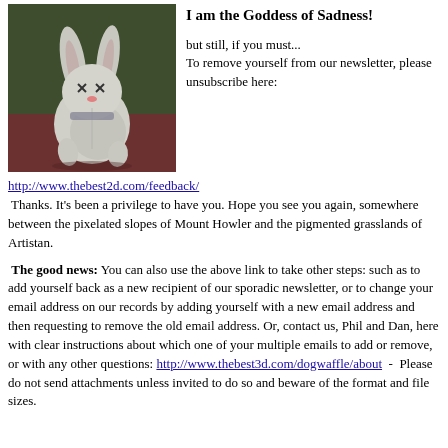[Figure (illustration): A painted illustration of a sad stuffed bunny toy with X eyes, sitting against a dark green and brown background.]
I am the Goddess of Sadness!

 but still, if you must... To remove yourself from our newsletter, please unsubscribe here:
http://www.thebest2d.com/feedback/
Thanks. It's been a privilege to have you. Hope you see you again, somewhere between the pixelated slopes of Mount Howler and the pigmented grasslands of Artistan.
The good news: You can also use the above link to take other steps: such as to add yourself back as a new recipient of our sporadic newsletter, or to change your email address on our records by adding yourself with a new email address and then requesting to remove the old email address. Or, contact us, Phil and Dan, here with clear instructions about which one of your multiple emails to add or remove, or with any other questions: http://www.thebest3d.com/dogwaffle/about  -  Please do not send attachments unless invited to do so and beware of the format and file sizes.